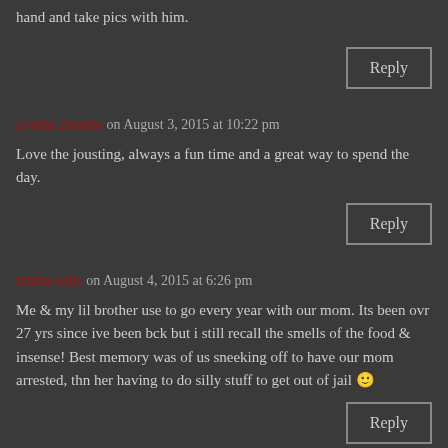hand and take pics with him.
Reply
Lynda Zmuda on August 3, 2015 at 10:22 pm
Love the jousting, always a fun time and a great way to spend the day.
Reply
isidra solis on August 4, 2015 at 6:26 pm
Me & my lil brother use to go every year with our mom. Its been ovr 27 yrs since ive been bck but i still recall the smells of the food & insense! Best memory was of us sneeking off to have our mom arrested, thn her having to do silly stuff to get out of jail 🙂
Reply